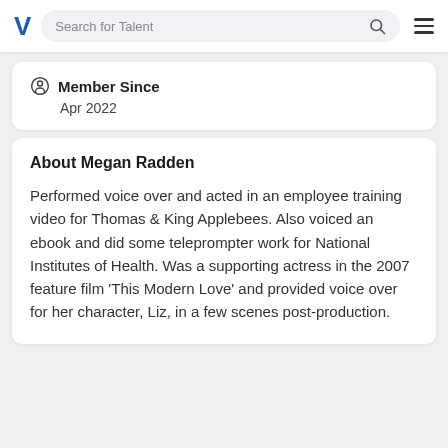Search for Talent
Member Since
Apr 2022
About Megan Radden
Performed voice over and acted in an employee training video for Thomas & King Applebees. Also voiced an ebook and did some teleprompter work for National Institutes of Health. Was a supporting actress in the 2007 feature film 'This Modern Love' and provided voice over for her character, Liz, in a few scenes post-production.